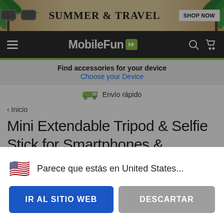[Figure (screenshot): Banner advertisement for Summer & Travel with sunglasses and palm leaves background, SHOP NOW button]
MobileFun
Find accessories for your device
Choose your Device
Envío rápido
‹ Inicio
Mini Extendable Tripod & Selfie Stick for Smartphones & Cameras
🇺🇸 Parece que estás en United States...
IR AL SITIO WEB
DESCARTAR